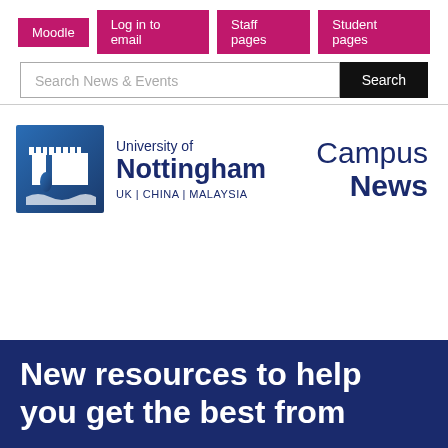Moodle | Log in to email | Staff pages | Student pages
Search News & Events
[Figure (logo): University of Nottingham logo - blue square with castle icon, text: University of Nottingham, UK | CHINA | MALAYSIA]
Campus News
New resources to help you get the best from